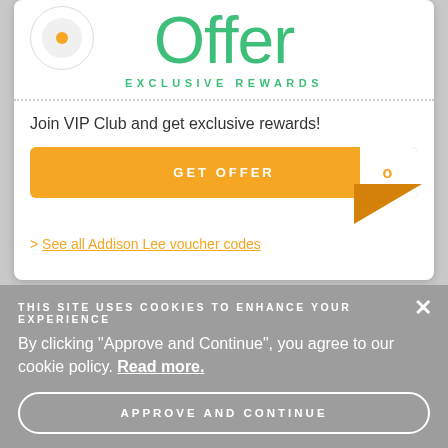Offer
EXCLUSIVE REWARDS
Join VIP Club and get exclusive rewards!
GET OFFER
> See all Addison Lee voucher codes
THIS SITE USES COOKIES TO ENHANCE YOUR EXPERIENCE
By clicking "Approve and Continue", you agree to our cookie policy. Read more.
APPROVE AND CONTINUE